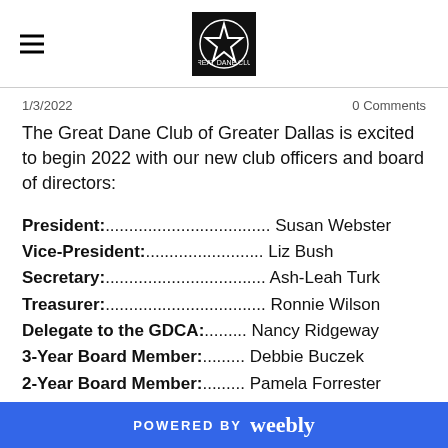[hamburger menu icon] [Great Dane Club of Greater Dallas logo]
1/3/2022
0 Comments
The Great Dane Club of Greater Dallas is excited to begin 2022 with our new club officers and board of directors:
President:................................... Susan Webster
Vice-President:.......................... Liz Bush
Secretary:................................... Ash-Leah Turk
Treasurer:................................... Ronnie Wilson
Delegate to the GDCA:......... Nancy Ridgeway
3-Year Board Member:......... Debbie Buczek
2-Year Board Member:......... Pamela Forrester
1-Year Board Member:......... Barb Bristol
POWERED BY weebly